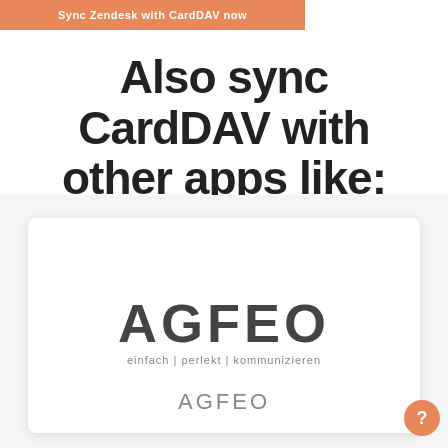Sync Zendesk with CardDAV now
Also sync CardDAV with other apps like:
[Figure (logo): AGFEO logo card showing the AGFEO wordmark in large bold dark gray text with tagline 'einfach | perlekt | kommunizieren' below, and 'AGFEO' text label at the bottom of the card]
AGFEO